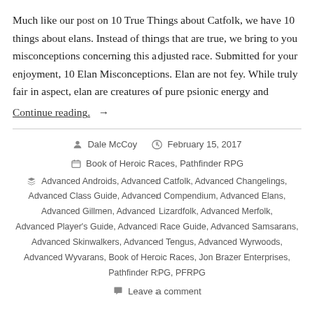Much like our post on 10 True Things about Catfolk, we have 10 things about elans. Instead of things that are true, we bring to you misconceptions concerning this adjusted race. Submitted for your enjoyment, 10 Elan Misconceptions. Elan are not fey. While truly fair in aspect, elan are creatures of pure psionic energy and
Continue reading . →
Dale McCoy   February 15, 2017
Book of Heroic Races, Pathfinder RPG
Advanced Androids, Advanced Catfolk, Advanced Changelings, Advanced Class Guide, Advanced Compendium, Advanced Elans, Advanced Gillmen, Advanced Lizardfolk, Advanced Merfolk, Advanced Player's Guide, Advanced Race Guide, Advanced Samsarans, Advanced Skinwalkers, Advanced Tengus, Advanced Wyrwoods, Advanced Wyvarans, Book of Heroic Races, Jon Brazer Enterprises, Pathfinder RPG, PFRPG
Leave a comment